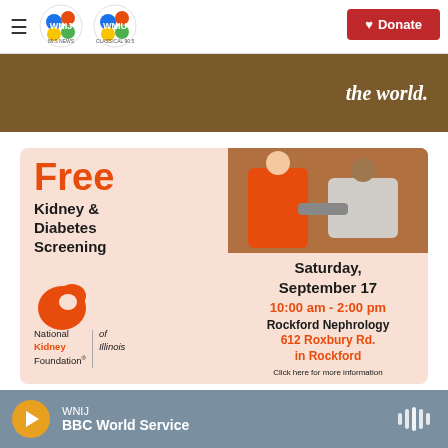WNIJ 89.5 NEWS | WNIU CLASSICAL 90.5 — Donate
[Figure (screenshot): Brown banner advertisement with text 'the world.']
[Figure (infographic): Free Kidney & Diabetes Screening advertisement. Saturday, September 17, 10:00 am - 2:00 pm, Rockford Nephrology, 612 Roxbury Rd. in Rockford. National Kidney Foundation of Illinois. Click here for more information.]
WNIJ BBC World Service